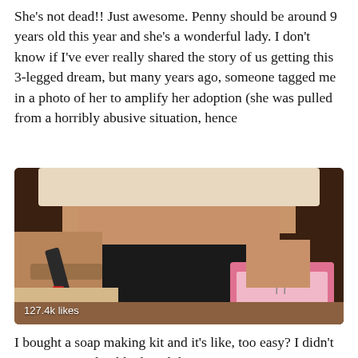She's not dead!! Just awesome. Penny should be around 9 years old this year and she's a wonderful lady. I don't know if I've ever really shared the story of us getting this 3-legged dream, but many years ago, someone tagged me in a photo of her to amplify her adoption (she was pulled from a horribly abusive situation, hence
[Figure (photo): A person holding a soap making tool over a pink rectangular soap mold, wearing black shorts. A white visor hat is visible at top. The image shows 127.4k likes in the bottom left corner.]
I bought a soap making kit and it's like, too easy? I didn't wanna just melt a block and then pour it into